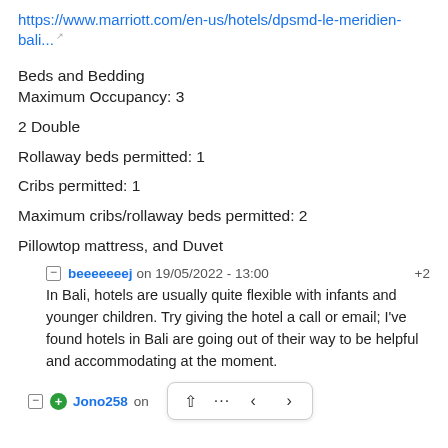https://www.marriott.com/en-us/hotels/dpsmd-le-meridien-bali...
Beds and Bedding
Maximum Occupancy: 3
2 Double
Rollaway beds permitted: 1
Cribs permitted: 1
Maximum cribs/rollaway beds permitted: 2
Pillowtop mattress, and Duvet
beeeeeeej on 19/05/2022 - 13:00  +2
In Bali, hotels are usually quite flexible with infants and younger children. Try giving the hotel a call or email; I've found hotels in Bali are going out of their way to be helpful and accommodating at the moment.
Jono258 on